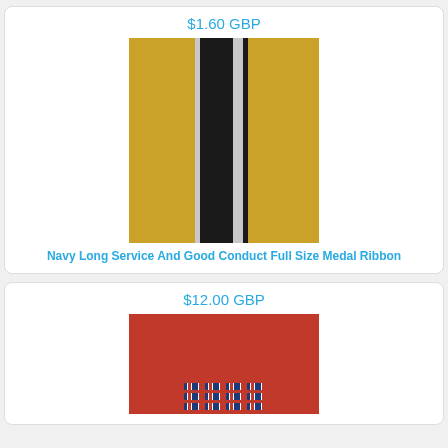$1.60 GBP
[Figure (photo): Navy Long Service and Good Conduct medal ribbon showing black stripe with white/grey edges on a gold/yellow background]
Navy Long Service And Good Conduct Full Size Medal Ribbon
$12.00 GBP
[Figure (photo): Medal ribbons arranged on a red background]